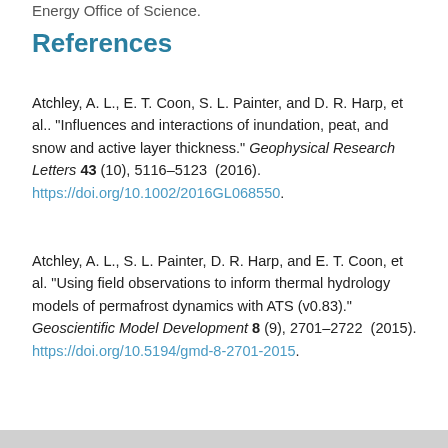Energy Office of Science.
References
Atchley, A. L., E. T. Coon, S. L. Painter, and D. R. Harp, et al.. "Influences and interactions of inundation, peat, and snow and active layer thickness." Geophysical Research Letters 43 (10), 5116–5123 (2016). https://doi.org/10.1002/2016GL068550.
Atchley, A. L., S. L. Painter, D. R. Harp, and E. T. Coon, et al. "Using field observations to inform thermal hydrology models of permafrost dynamics with ATS (v0.83)." Geoscientific Model Development 8 (9), 2701–2722 (2015). https://doi.org/10.5194/gmd-8-2701-2015.